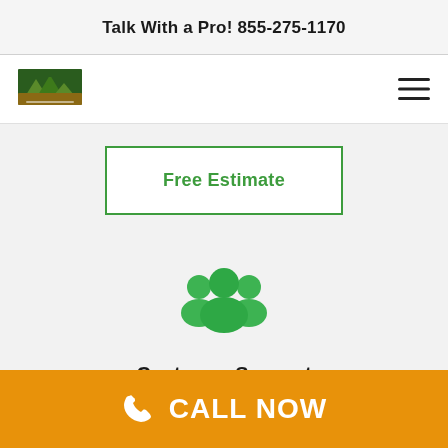Talk With a Pro! 855-275-1170
[Figure (logo): HomeLeads company logo with house/mountain graphic in green and brown]
[Figure (other): Hamburger menu icon (three horizontal lines)]
Free Estimate
[Figure (illustration): Green customer support group icon showing three people silhouettes]
Customer Support
You get the full support from Custo…
CALL NOW